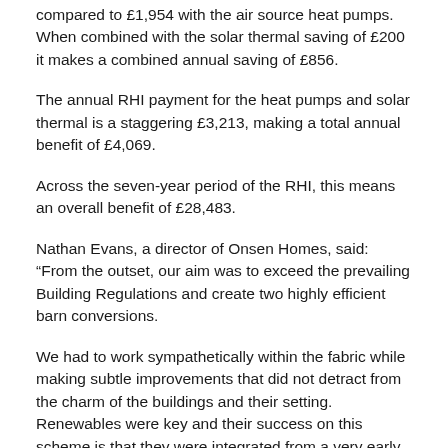compared to £1,954 with the air source heat pumps. When combined with the solar thermal saving of £200 it makes a combined annual saving of £856.
The annual RHI payment for the heat pumps and solar thermal is a staggering £3,213, making a total annual benefit of £4,069.
Across the seven-year period of the RHI, this means an overall benefit of £28,483.
Nathan Evans, a director of Onsen Homes, said: “From the outset, our aim was to exceed the prevailing Building Regulations and create two highly efficient barn conversions.
We had to work sympathetically within the fabric while making subtle improvements that did not detract from the charm of the buildings and their setting. Renewables were key and their success on this scheme is that they were integrated from a very early stage in the design.”
In addition to the financial savings and benefits available, the total site